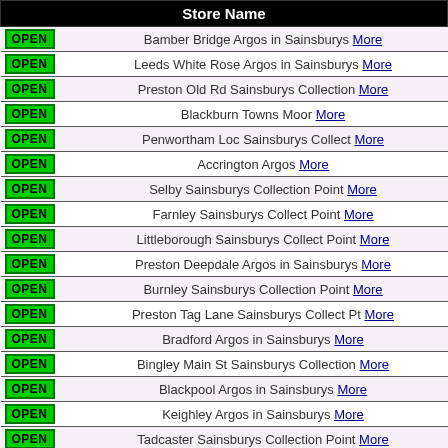|  | Store Name |
| --- | --- |
| OPEN | Bamber Bridge Argos in Sainsburys More |
| OPEN | Leeds White Rose Argos in Sainsburys More |
| OPEN | Preston Old Rd Sainsburys Collection More |
| OPEN | Blackburn Towns Moor More |
| OPEN | Penwortham Loc Sainsburys Collect More |
| OPEN | Accrington Argos More |
| OPEN | Selby Sainsburys Collection Point More |
| OPEN | Farnley Sainsburys Collect Point More |
| OPEN | Littleborough Sainsburys Collect Point More |
| OPEN | Preston Deepdale Argos in Sainsburys More |
| OPEN | Burnley Sainsburys Collection Point More |
| OPEN | Preston Tag Lane Sainsburys Collect Pt More |
| OPEN | Bradford Argos in Sainsburys More |
| OPEN | Bingley Main St Sainsburys Collection More |
| OPEN | Blackpool Argos in Sainsburys More |
| OPEN | Keighley Argos in Sainsburys More |
| OPEN | Tadcaster Sainsburys Collection Point More |
| OPEN | Clitheroe Argos in Sainsburys More |
| OPEN | Blackpool Red Bank Road Sainsburys CP More |
| OPEN | Otley Argos in Sainsburys More |
| OPEN | Pocklington Sainsburys Collection Point More |
| OPEN | Fulford Loc Sainsburys CP More |